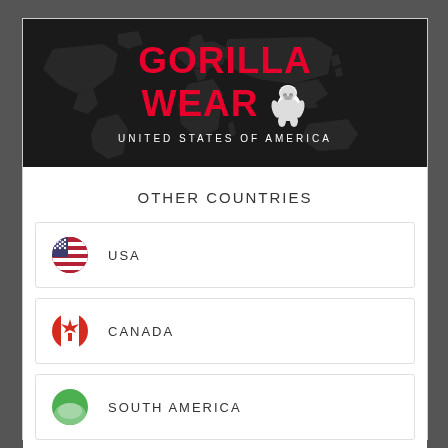[Figure (logo): Gorilla Wear logo banner with world map background, red GORILLA WEAR text with gorilla icon, subtitle UNITED STATES OF AMERICA]
OTHER COUNTRIES
USA
CANADA
SOUTH AMERICA
RUSSIA
JAPAN